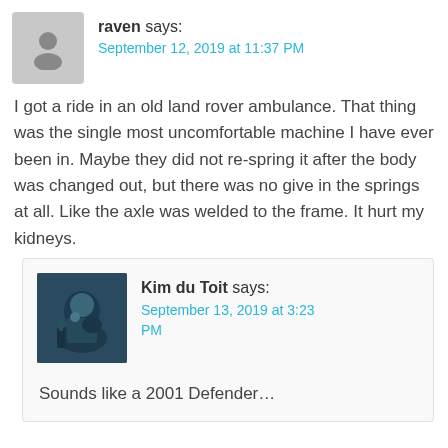raven says:
September 12, 2019 at 11:37 PM
I got a ride in an old land rover ambulance. That thing was the single most uncomfortable machine I have ever been in. Maybe they did not re-spring it after the body was changed out, but there was no give in the springs at all. Like the axle was welded to the frame. It hurt my kidneys.
[Figure (photo): Avatar photo of Kim du Toit, a person playing guitar in dim lighting]
Kim du Toit says:
September 13, 2019 at 3:23 PM
Sounds like a 2001 Defender…